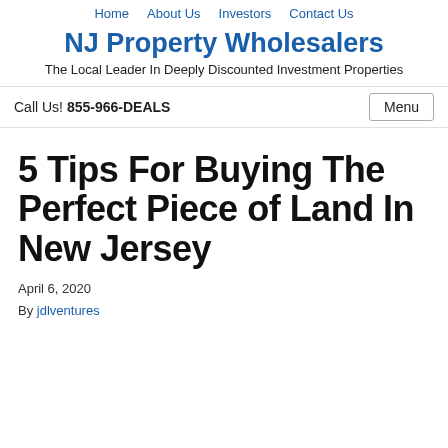Home  About Us  Investors  Contact Us
NJ Property Wholesalers
The Local Leader In Deeply Discounted Investment Properties
Call Us! 855-966-DEALS
5 Tips For Buying The Perfect Piece of Land In New Jersey
April 6, 2020
By jdlventures